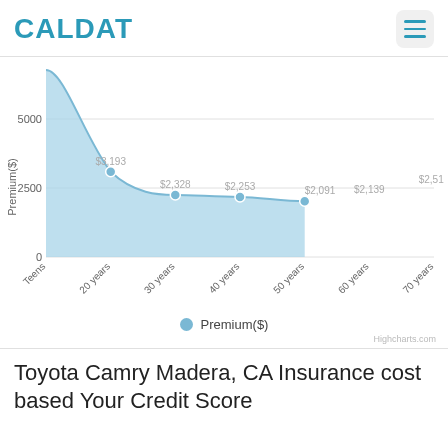CALDAT
[Figure (area-chart): ]
Highcharts.com
Toyota Camry Madera, CA Insurance cost based Your Credit Score